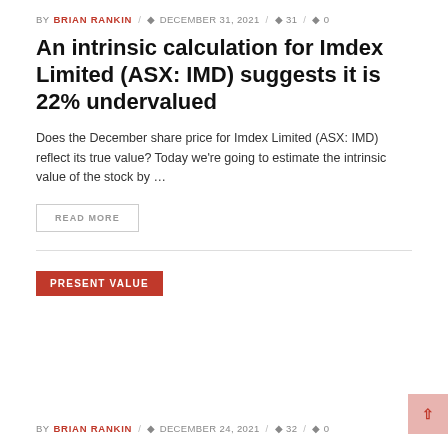BY BRIAN RANKIN / DECEMBER 31, 2021 / 31 / 0
An intrinsic calculation for Imdex Limited (ASX: IMD) suggests it is 22% undervalued
Does the December share price for Imdex Limited (ASX: IMD) reflect its true value? Today we're going to estimate the intrinsic value of the stock by …
READ MORE
PRESENT VALUE
BY BRIAN RANKIN / DECEMBER 24, 2021 / 32 / 0